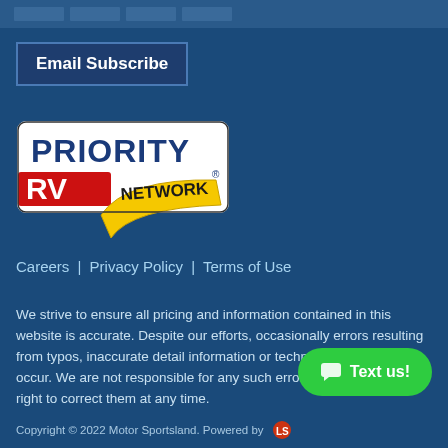Email Subscribe
[Figure (logo): Priority RV Network logo with yellow banner ribbon and red/white text]
Careers | Privacy Policy | Terms of Use
We strive to ensure all pricing and information contained in this website is accurate. Despite our efforts, occasionally errors resulting from typos, inaccurate detail information or technical mistakes may occur. We are not responsible for any such errors and reserve the right to correct them at any time.
[Figure (other): Green rounded button with chat bubble icon and text 'Text us!']
Copyright © 2022 Motor Sportsland. Powered by [logo]